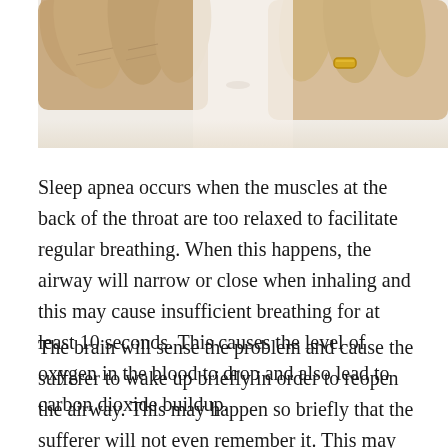[Figure (photo): Close-up photo of two hands (likely older person's hands) holding something small between their fingers. The right hand has a gold wedding band ring. Background is light/white.]
Sleep apnea occurs when the muscles at the back of the throat are too relaxed to facilitate regular breathing. When this happens, the airway will narrow or close when inhaling and this may cause insufficient breathing for at least 10 seconds. This causes the level of oxygen in the blood to drop and also lead to carbon dioxide buildup.
The brain will sense the problem and cause the sufferer to wake up briefly in order to reopen the airway. This may happen so briefly that the sufferer will not even remember it. This may occur between 5